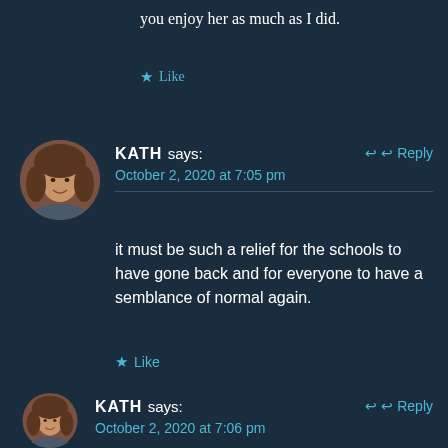you enjoy her as much as I did.
★ Like
[Figure (photo): Circular avatar photo of a woman with brown hair smiling]
KATH says:
October 2, 2020 at 7:05 pm
↩ Reply
it must be such a relief for the schools to have gone back and for everyone to have a semblance of normal again.
★ Like
[Figure (photo): Circular avatar photo of a woman with brown hair smiling]
KATH says:
October 2, 2020 at 7:06 pm
↩ Reply